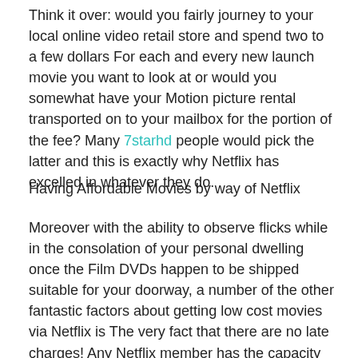Think it over: would you fairly journey to your local online video retail store and spend two to a few dollars For each and every new launch movie you want to look at or would you somewhat have your Motion picture rental transported on to your mailbox for the portion of the fee? Many 7starhd people would pick the latter and this is exactly why Netflix has excelled in whatever they do.
Having Affordable Movies by way of Netflix
Moreover with the ability to observe flicks while in the consolation of your personal dwelling once the Film DVDs happen to be shipped suitable for your doorway, a number of the other fantastic factors about getting low cost movies via Netflix is The very fact that there are no late charges! Any Netflix member has the capacity to keep their flicks for as long as they want with out incurring late charges. How this operates is that the